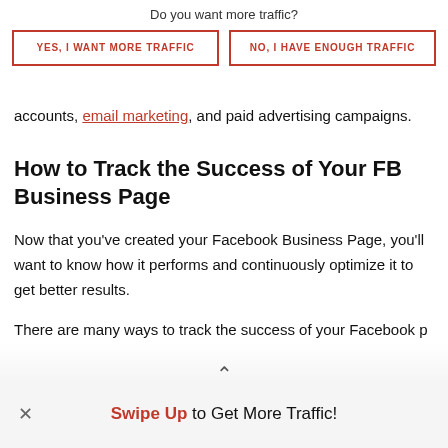Do you want more traffic?
YES, I WANT MORE TRAFFIC
NO, I HAVE ENOUGH TRAFFIC
accounts, email marketing, and paid advertising campaigns.
How to Track the Success of Your FB Business Page
Now that you've created your Facebook Business Page, you'll want to know how it performs and continuously optimize it to get better results.
There are many ways to track the success of your Facebook p
Swipe Up to Get More Traffic!